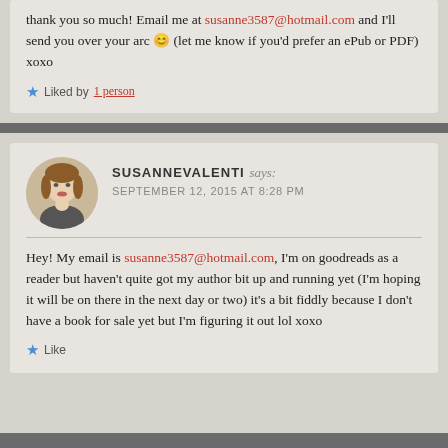thank you so much! Email me at susanne3587@hotmail.com and I'll send you over your arc 😊 (let me know if you'd prefer an ePub or PDF) xoxo
★ Liked by 1 person
SUSANNE VALENTI says: SEPTEMBER 12, 2015 AT 8:28 PM
Hey! My email is susanne3587@hotmail.com, I'm on goodreads as a reader but haven't quite got my author bit up and running yet (I'm hoping it will be on there in the next day or two) it's a bit fiddly because I don't have a book for sale yet but I'm figuring it out lol xoxo
★ Like